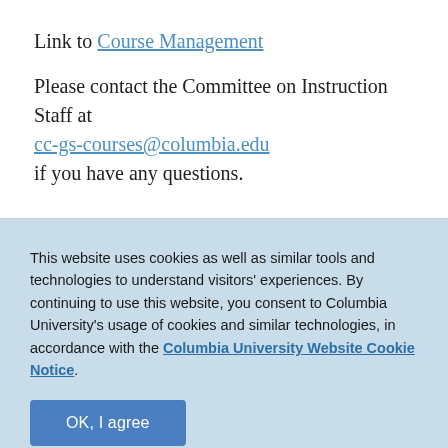Link to Course Management
Please contact the Committee on Instruction Staff at cc-gs-courses@columbia.edu if you have any questions.
This website uses cookies as well as similar tools and technologies to understand visitors' experiences. By continuing to use this website, you consent to Columbia University's usage of cookies and similar technologies, in accordance with the Columbia University Website Cookie Notice. OK, I agree